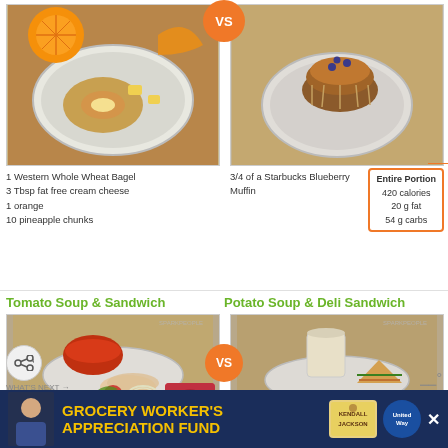[Figure (photo): Top left food photo: plate with whole wheat bagel with cream cheese, orange slices and pineapple chunks on a wood table]
[Figure (photo): Top right food photo: plate with Starbucks blueberry muffin on a wood table]
1 Western Whole Wheat Bagel
3 Tbsp fat free cream cheese
1 orange
10 pineapple chunks
3/4 of a Starbucks Blueberry Muffin
Entire Portion
420 calories
20 g fat
54 g carbs
Tomato Soup & Sandwich
Potato Soup & Deli Sandwich
[Figure (photo): Bottom left food photo: plate with tomato soup in a bowl, deli turkey slices, lettuce, tomato, onion rings, with SPARKPEOPLE watermark]
[Figure (photo): Bottom right food photo: plate with cream/potato soup in bowl and Panera Sierra Turkey sandwich slice, with SPARKPEOPLE watermark]
3 oz deli turkey breast
lettuce, onion, tomato & mustard
2 slices light bread
1 cup tomato soup
1/6 of a Panera Sierra Turkey Sandwich with Panera Baked Potato Soup
Entire Portion
1370 calories
77 g fat
119 g carbs
WHAT'S NEXT →
How to Reduce Your...
GROCERY WORKER'S APPRECIATION FUND